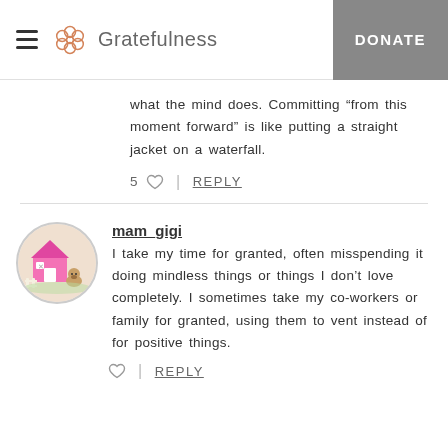Gratefulness   DONATE
what the mind does. Committing “from this moment forward” is like putting a straight jacket on a waterfall.
5 ♡  |  REPLY
mam_gigi
I take my time for granted, often misspending it doing mindless things or things I don’t love completely. I sometimes take my co-workers or family for granted, using them to vent instead of for positive things.
REPLY